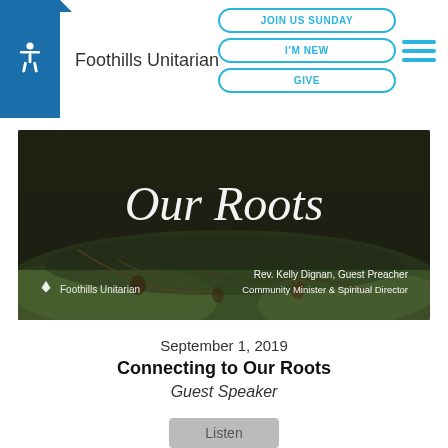Foothills Unitarian — navigation bar with JOIN US SUNDAY, I'M NEW, GIVE buttons
[Figure (photo): Hero image titled 'Our Roots' showing moss, roots, and pine cones on forest floor. Text overlay: 'Rev. Kelly Dignan, Guest Preacher / Community Minister & Spiritual Director'. Foothills Unitarian logo in bottom left.]
September 1, 2019
Connecting to Our Roots
Guest Speaker
Listen